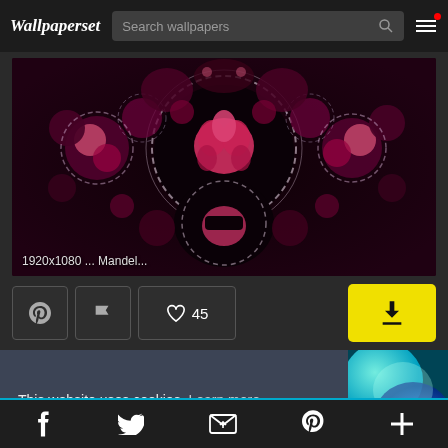Wallpaperset — Search wallpapers
[Figure (photo): Dark fractal mandelbrot wallpaper with pink/magenta flower-like patterns and gear-shaped rings on black background. Label: 1920x1080 ... Mandel...]
1920x1080 ... Mandel...
45 likes, Pinterest, Flag, Download buttons
This website uses cookies. Learn more
[Figure (photo): Thumbnail of colorful abstract wallpaper with teal/cyan and blue gradient shapes]
Social icons: Facebook, Twitter, Email, Pinterest, Plus